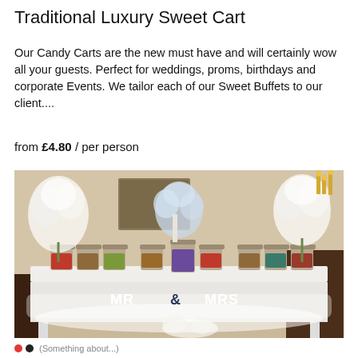Traditional Luxury Sweet Cart
Our Candy Carts are the new must have and will certainly wow all your guests. Perfect for weddings, proms, birthdays and corporate Events. We tailor each of our Sweet Buffets to our client....
from £4.80 / per person
[Figure (photo): A decorated traditional luxury sweet candy cart table draped in white tulle with multiple glass jars filled with sweets/candy, white floral arrangements on either side, and 'MR & MRS' lettering at the front, set in an elegant event venue.]
(Something about...)